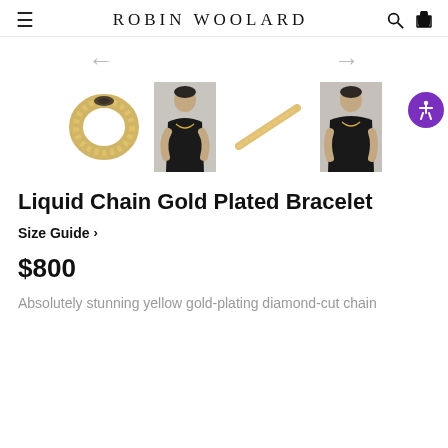ROBIN WOOLARD
[Figure (photo): Four product thumbnail images: a gold braided bracelet, a model wearing the bracelet in a black outfit, a close-up of the gold chain diagonal, and another model photo in black outfit wearing the bracelet.]
Liquid Chain Gold Plated Bracelet
Size Guide >
$800
Absolutely stunning yellow gold-plating diamond-cut chain